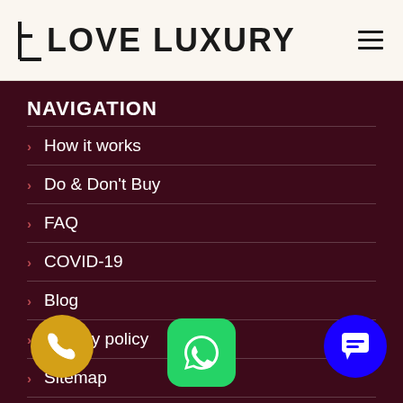LOVE LUXURY
NAVIGATION
How it works
Do & Don't Buy
FAQ
COVID-19
Blog
Privacy policy
Sitemap
About us